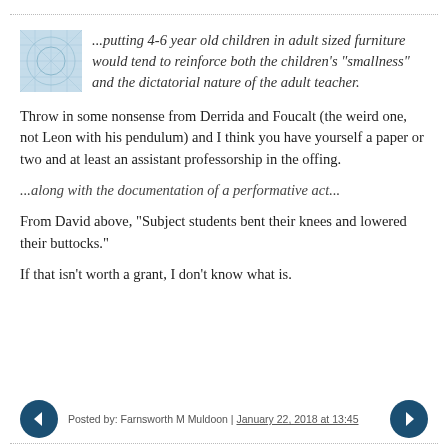...putting 4-6 year old children in adult sized furniture would tend to reinforce both the children's "smallness" and the dictatorial nature of the adult teacher.
Throw in some nonsense from Derrida and Foucalt (the weird one, not Leon with his pendulum) and I think you have yourself a paper or two and at least an assistant professorship in the offing.
...along with the documentation of a performative act...
From David above, "Subject students bent their knees and lowered their buttocks."
If that isn't worth a grant, I don't know what is.
Posted by: Farnsworth M Muldoon | January 22, 2018 at 13:45